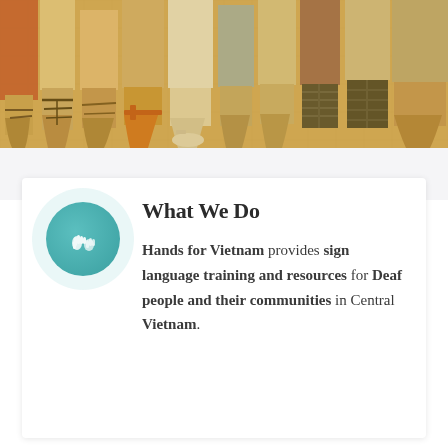[Figure (photo): A cropped photo showing the lower legs and feet of multiple people standing together wearing various sandals and open-toed shoes, with a warm golden/amber color overlay on a tiled ground surface.]
What We Do
Hands for Vietnam provides sign language training and resources for Deaf people and their communities in Central Vietnam.